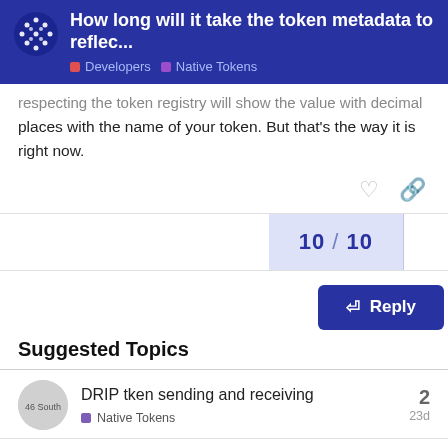How long will it take the token metadata to reflec... | Developers | Native Tokens
respecting the token registry will show the value with decimal places with the name of your token. But that's the way it is right now.
10 / 10
Reply
Suggested Topics
DRIP tken sending and receiving | Native Tokens | 2 replies | 23d
ADAX-Wallet Question | Native Tokens | 3 replies | 9d
Want to read more? Browse other topics in